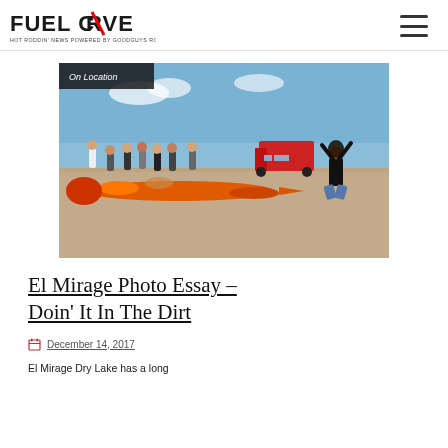FUEL CURVE – Hot Roddin' News Powered By Goodguys Rod & Custom Association
[Figure (photo): Outdoor scene at El Mirage Dry Lake with a long orange streamliner race car on the ground, a kneeling person with arms raised, and a crowd of spectators in the background. Blue sky above. 'On Location' badge in upper left corner.]
El Mirage Photo Essay – Doin' It In The Dirt
December 14, 2017
El Mirage Dry Lake has a long